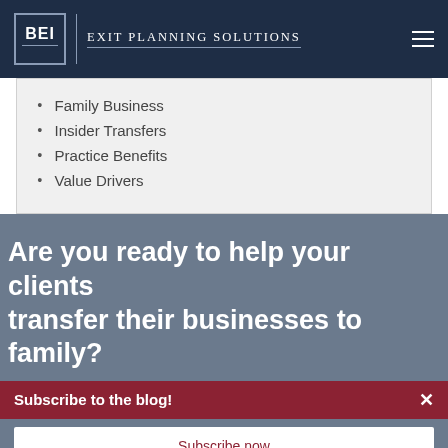BEI | Exit Planning Solutions
Family Business
Insider Transfers
Practice Benefits
Value Drivers
Are you ready to help your clients transfer their businesses to family?
Subscribe to the blog!
Subscribe now